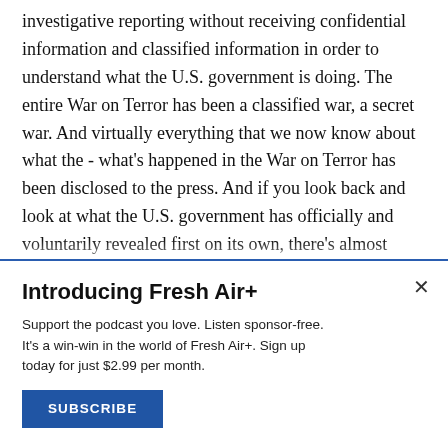investigative reporting without receiving confidential information and classified information in order to understand what the U.S. government is doing. The entire War on Terror has been a classified war, a secret war. And virtually everything that we now know about what the - what's happened in the War on Terror has been disclosed to the press. And if you look back and look at what the U.S. government has officially and voluntarily revealed first on its own, there's almost nothing. And so if we didn't have an aggressive press investigating national security and the War
Introducing Fresh Air+
Support the podcast you love. Listen sponsor-free. It's a win-win in the world of Fresh Air+. Sign up today for just $2.99 per month.
SUBSCRIBE